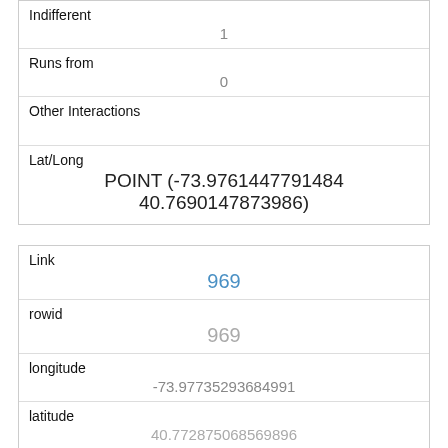| Indifferent | 1 |
| Runs from | 0 |
| Other Interactions |  |
| Lat/Long | POINT (-73.9761447791484 40.7690147873986) |
| Link | 969 |
| rowid | 969 |
| longitude | -73.97735293684991 |
| latitude | 40.772875068569896 |
| Unique Squirrel ID | 7B-AM-1008-12 |
| Hectare |  |